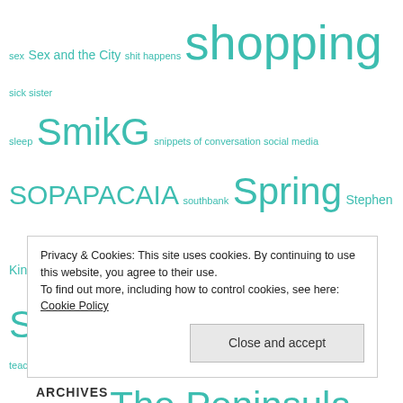sex Sex and the City shit happens shopping sick sister sleep SmikG snippets of conversation social media SOPAPACAIA southbank Spring Stephen King Summer Sunday sunshine sweets talk tapas tasmania tea teacher teenagers the 'look' The Peninsula The Simpsons Things that shit me thomastown tick tick time to-do-in-life list to-dos toilet trees tuesday TV Twisted Lyrics! uncharted territory uni days Universe views walk water wedding wednesday wind wine Winter women women are from venus and men are from
Privacy & Cookies: This site uses cookies. By continuing to use this website, you agree to their use. To find out more, including how to control cookies, see here: Cookie Policy
Close and accept
ARCHIVES